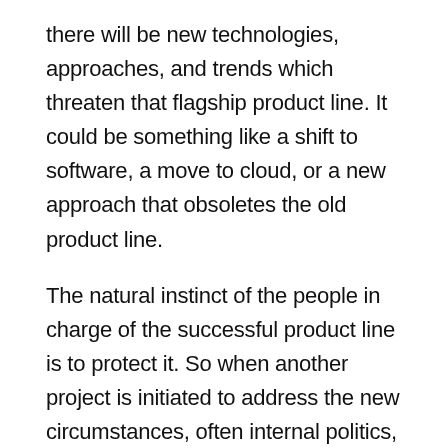there will be new technologies, approaches, and trends which threaten that flagship product line. It could be something like a shift to software, a move to cloud, or a new approach that obsoletes the old product line.
The natural instinct of the people in charge of the successful product line is to protect it. So when another project is initiated to address the new circumstances, often internal politics, compromises, and worries of revenue cannibalization will destroy or hamstring the new product line. The company looks old, stuck in its ways, a dinosaur that the industry has passed up – unable to innovate, despite top-flight talent.
How could this happen? Everyone has the company's best interests at heart, but human nature rules. People are territorial, and when they have success, they resist anything which diminishes that success. It's...